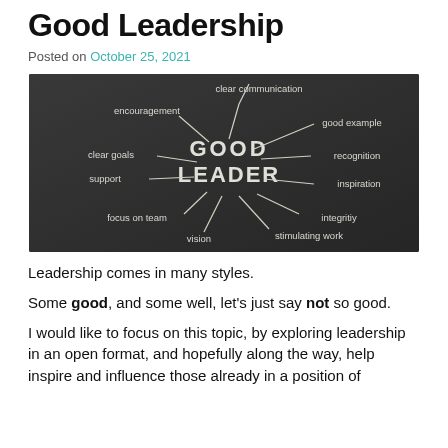Good Leadership
Posted on October 25, 2021
[Figure (illustration): Chalkboard mind-map diagram showing traits of a Good Leader: clear communication, encouragement, good example, clear goals, recognition, support, inspiration, focus on team, integritiy, vision, stimulating work]
Leadership comes in many styles.
Some good, and some well, let's just say not so good.
I would like to focus on this topic, by exploring leadership in an open format, and hopefully along the way, help inspire and influence those already in a position of